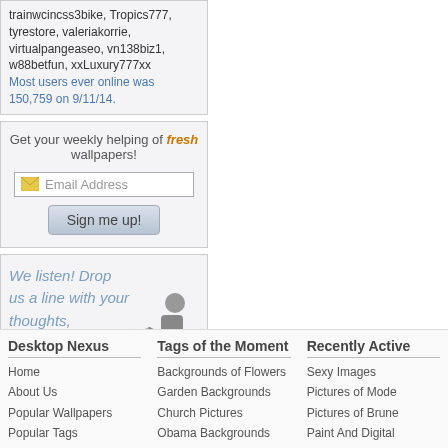trainwcincss3bike, Tropics777, tyrestore, valeriakorrie, virtualpangeaseo, vn138biz1, w88betfun, xxLuxury777xx
Most users ever online was 150,759 on 9/11/14.
Get your weekly helping of fresh wallpapers!
[Email Address input] [Sign me up! button]
We listen! Drop us a line with your thoughts, comments, or feedback!
Support This Site
Desktop Nexus
Home
About Us
Popular Wallpapers
Popular Tags
Community Stats
Tags of the Moment
Backgrounds of Flowers
Garden Backgrounds
Church Pictures
Obama Backgrounds
Sunset Backgrounds
Recently Active
Sexy Images
Pictures of Mode
Pictures of Brune
Paint And Digital
Pictures of Ear